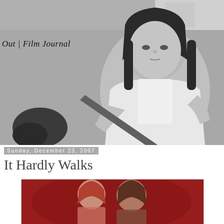[Figure (photo): Black and white photograph of a young woman with long dark hair holding a large knife/dagger, wearing a white top and apron, looking directly at the camera]
Out | Film Journal
Sunday, December 23, 2007
It Hardly Walks
[Figure (photo): A second photograph showing two people against a red background, partially visible at the bottom of the page]